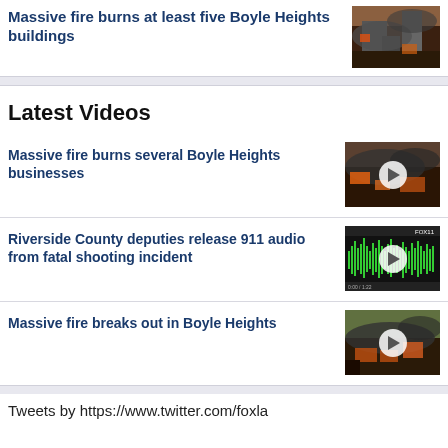Massive fire burns at least five Boyle Heights buildings
Latest Videos
Massive fire burns several Boyle Heights businesses
[Figure (photo): Video thumbnail of fire burning at Boyle Heights businesses, aerial view with smoke]
Riverside County deputies release 911 audio from fatal shooting incident
[Figure (screenshot): Video thumbnail showing audio waveform on dark background for 911 audio from fatal shooting incident]
Massive fire breaks out in Boyle Heights
[Figure (photo): Video thumbnail of fire at Boyle Heights, aerial view with smoke and flames]
Tweets by https://www.twitter.com/foxla